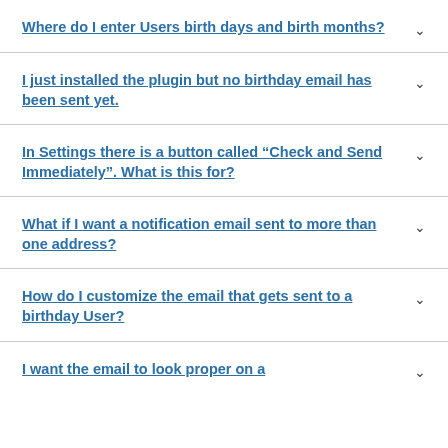Where do I enter Users birth days and birth months?
I just installed the plugin but no birthday email has been sent yet.
In Settings there is a button called “Check and Send Immediately”. What is this for?
What if I want a notification email sent to more than one address?
How do I customize the email that gets sent to a birthday User?
I want the email to look proper on a …